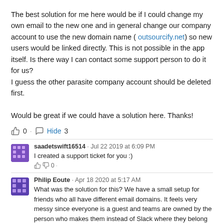The best solution for me here would be if I could change my own email to the new one and in general change our company account to use the new domain name ( outsourcify.net) so new users would be linked directly. This is not possible in the app itself. Is there way I can contact some support person to do it for us?
I guess the other parasite company account should be deleted first.

Would be great if we could have a solution here. Thanks!
0 · Hide 3
saadetswift16514 · Jul 22 2019 at 6:09 PM
I created a support ticket for you :)
0 ·
Philip Eoute · Apr 18 2020 at 5:17 AM
What was the solution for this? We have a small setup for friends who all have different email domains. It feels very messy since everyone is a guest and teams are owned by the person who makes them instead of Slack where they belong to the workspace.
0 ·
mary-community-moderator ♦♦ · Apr 19 2020 at 7:58 PM
Hello!